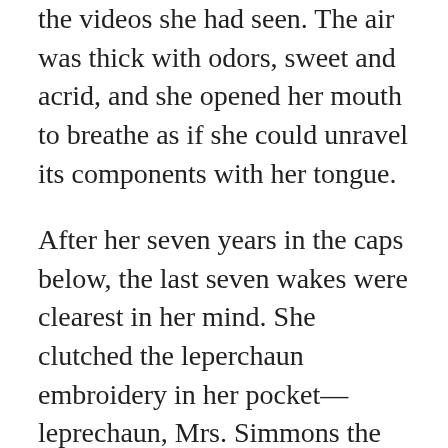the videos she had seen. The air was thick with odors, sweet and acrid, and she opened her mouth to breathe as if she could unravel its components with her tongue.
After her seven years in the caps below, the last seven wakes were clearest in her mind. She clutched the leperchaun embroidery in her pocket—leprechaun, Mrs. Simmons the schoolteacher had corrected her, telling her gently that they were not real—and remembered the day in class when they had discussed the coming ascension in real terms for the first time, because the